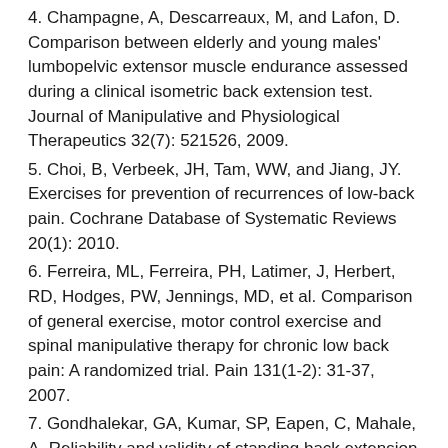4. Champagne, A, Descarreaux, M, and Lafon, D. Comparison between elderly and young males' lumbopelvic extensor muscle endurance assessed during a clinical isometric back extension test. Journal of Manipulative and Physiological Therapeutics 32(7): 521526, 2009.
5. Choi, B, Verbeek, JH, Tam, WW, and Jiang, JY. Exercises for prevention of recurrences of low-back pain. Cochrane Database of Systematic Reviews 20(1): 2010.
6. Ferreira, ML, Ferreira, PH, Latimer, J, Herbert, RD, Hodges, PW, Jennings, MD, et al. Comparison of general exercise, motor control exercise and spinal manipulative therapy for chronic low back pain: A randomized trial. Pain 131(1-2): 31-37, 2007.
7. Gondhalekar, GA, Kumar, SP, Eapen, C, Mahale, A. Reliability and validity of standing back extension test for detecting motor control impairment in subjects with low back pain. Journal of Clinical and Diagnostic Research.